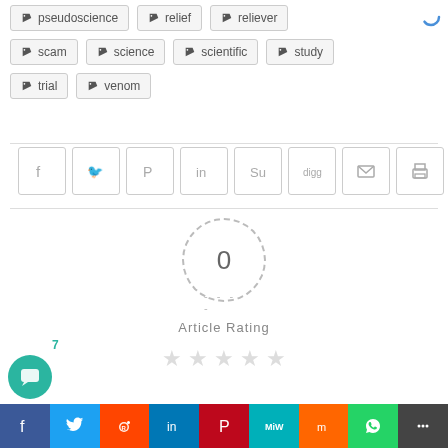pseudoscience
relief
reliever
scam
science
scientific
study
trial
venom
[Figure (infographic): Social share buttons: Facebook, Twitter, Pinterest, LinkedIn, StumbleUpon, Digg, Email, Print]
0
Article Rating
[Figure (infographic): 5 empty star rating icons]
[Figure (infographic): Bottom social share bar with colored buttons: Facebook (blue), Twitter (light blue), Reddit (orange-red), LinkedIn (blue), Pinterest (red), MixedWeather/MW (teal), Mix (orange), WhatsApp (green), Share (dark gray). Also a teal comment bubble with 7 badge.]